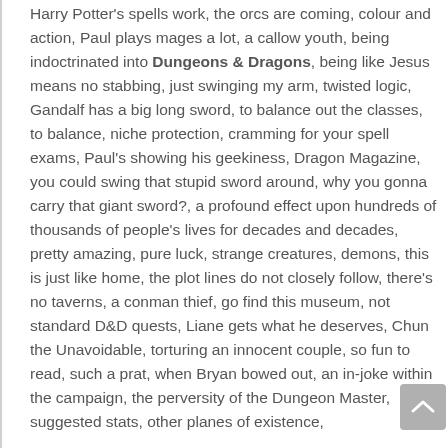Harry Potter's spells work, the orcs are coming, colour and action, Paul plays mages a lot, a callow youth, being indoctrinated into Dungeons & Dragons, being like Jesus means no stabbing, just swinging my arm, twisted logic, Gandalf has a big long sword, to balance out the classes, to balance, niche protection, cramming for your spell exams, Paul's showing his geekiness, Dragon Magazine, you could swing that stupid sword around, why you gonna carry that giant sword?, a profound effect upon hundreds of thousands of people's lives for decades and decades, pretty amazing, pure luck, strange creatures, demons, this is just like home, the plot lines do not closely follow, there's no taverns, a conman thief, go find this museum, not standard D&D quests, Liane gets what he deserves, Chun the Unavoidable, torturing an innocent couple, so fun to read, such a prat, when Bryan bowed out, an in-joke within the campaign, the perversity of the Dungeon Master, suggested stats, other planes of existence,